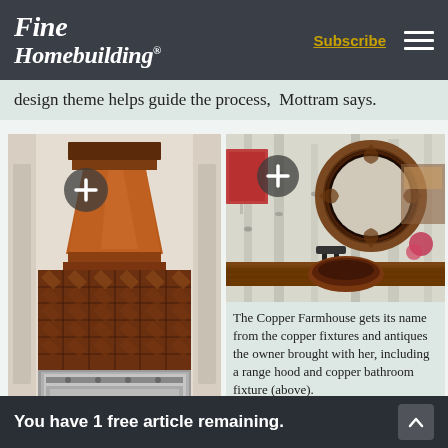Fine Homebuilding — Subscribe
design theme helps guide the process, Mottram says.
[Figure (photo): Copper range hood above decorative copper tile backsplash in a farmhouse-style kitchen with a stainless steel range.]
[Figure (photo): Bathroom vanity with a round copper vessel sink on a live-edge wood countertop, with an ornate leaf-motif circular mirror and birch tree wallpaper.]
The Copper Farmhouse gets its name from the copper fixtures and antiques the owner brought with her, including a range hood and copper bathroom fixture (above).
You have 1 free article remaining.